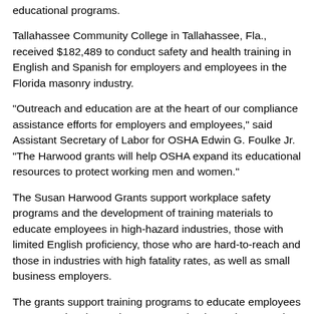educational programs.
Tallahassee Community College in Tallahassee, Fla., received $182,489 to conduct safety and health training in English and Spanish for employers and employees in the Florida masonry industry.
"Outreach and education are at the heart of our compliance assistance efforts for employers and employees," said Assistant Secretary of Labor for OSHA Edwin G. Foulke Jr. "The Harwood grants will help OSHA expand its educational resources to protect working men and women."
The Susan Harwood Grants support workplace safety programs and the development of training materials to educate employees in high-hazard industries, those with limited English proficiency, those who are hard-to-reach and those in industries with high fatality rates, as well as small business employers.
The grants support training programs to educate employees on targeted topics such as construction hazards; general industry hazards; and other safety and health topic areas including